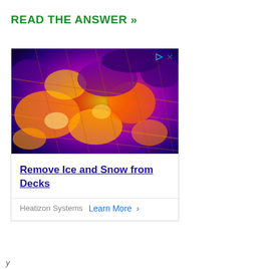READ THE ANSWER »
[Figure (photo): Thermal/infrared image of a deck surface showing heat patterns in purple, orange, and yellow tones — advertisement image for Heatizon Systems deck ice and snow removal product]
Remove Ice and Snow from Decks
Heatizon Systems  Learn More  >
y